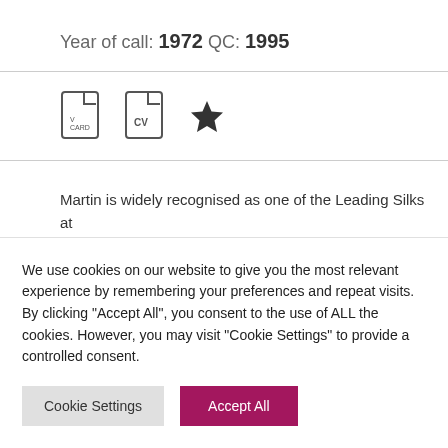Year of call: 1972 QC: 1995
[Figure (infographic): Icons row: vCard document icon, CV document icon, star/favourite icon]
Martin is widely recognised as one of the Leading Silks at the Criminal Bar with extensive experience of criminal trials including corporate and financial crime. He also
We use cookies on our website to give you the most relevant experience by remembering your preferences and repeat visits. By clicking "Accept All", you consent to the use of ALL the cookies. However, you may visit "Cookie Settings" to provide a controlled consent.